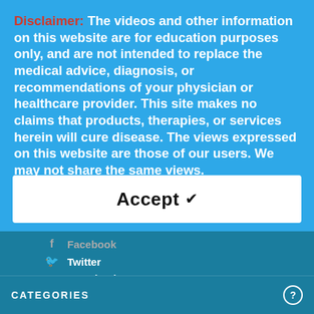Disclaimer: The videos and other information on this website are for education purposes only, and are not intended to replace the medical advice, diagnosis, or recommendations of your physician or healthcare provider. This site makes no claims that products, therapies, or services herein will cure disease. The views expressed on this website are those of our users. We may not share the same views.
Accept ✓
Facebook
Twitter
Google Plus
Youtube
RSS
CATEGORIES